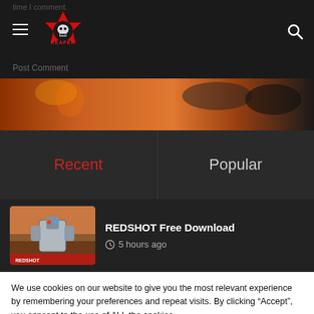time I comment.
[Figure (logo): REAPER logo - red star/badge with skull and text REAPER]
Post Comment
[Figure (photo): Action game screenshot strip with fire and dark background]
Recent
Popular
[Figure (screenshot): REDSHOT game thumbnail showing a mech/robot character]
REDSHOT Free Download
5 hours ago
We use cookies on our website to give you the most relevant experience by remembering your preferences and repeat visits. By clicking “Accept”, you consent to the use of ALL the cookies.
Cookie settings
ACCEPT